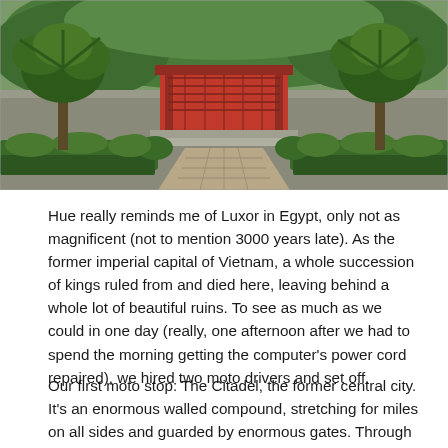[Figure (photo): A garden scene at Hue, Vietnam, showing a paved walkway leading to a red pavilion or gate structure, flanked by tropical plants, palm-like trees, and neatly trimmed hedges. The background shows lush green foliage and stone walls.]
Hue really reminds me of Luxor in Egypt, only not as magnificent (not to mention 3000 years late). As the former imperial capital of Vietnam, a whole succession of kings ruled from and died here, leaving behind a whole lot of beautiful ruins. To see as much as we could in one day (really, one afternoon after we had to spend the morning getting the computer's power cord repaired), we hired two moto drivers and set off.
Our first moto stop: The Citadel, the former central city. It's an enormous walled compound, stretching for miles on all sides and guarded by enormous gates. Through these impressive fortifications exists an entire city of